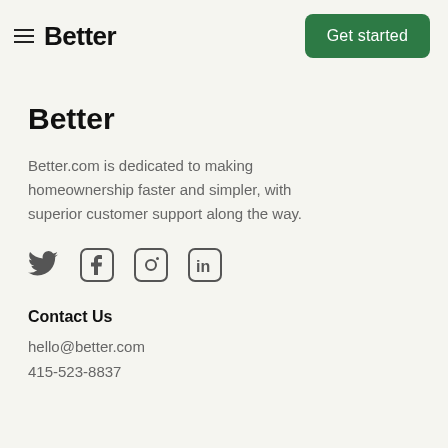Better | Get started
Better
Better.com is dedicated to making homeownership faster and simpler, with superior customer support along the way.
[Figure (illustration): Social media icons: Twitter bird, Facebook 'f' in rounded square, Instagram camera in rounded square, LinkedIn 'in' in rounded square]
Contact Us
hello@better.com
415-523-8837